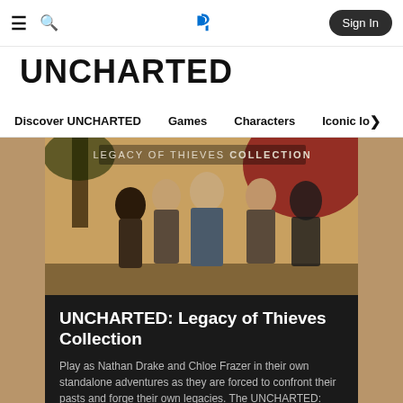PlayStation navigation bar with hamburger menu, search, PlayStation logo, and Sign In button
UNCHARTED
Discover UNCHARTED  Games  Characters  Iconic lo>
[Figure (screenshot): UNCHARTED Legacy of Thieves Collection game cover art showing Nathan Drake and Chloe Frazer and other characters against a parchment background]
UNCHARTED: Legacy of Thieves Collection
Play as Nathan Drake and Chloe Frazer in their own standalone adventures as they are forced to confront their pasts and forge their own legacies. The UNCHARTED: Legacy of Thieves Collection...